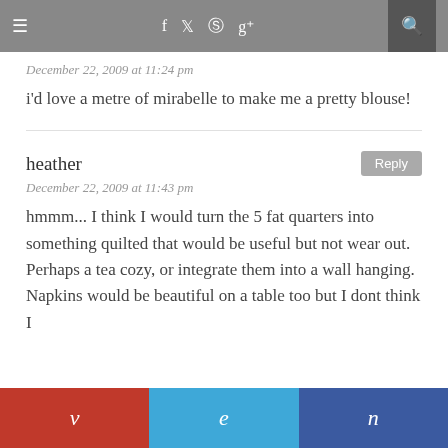≡  f  t   pinterest  g+  🔍
December 22, 2009 at 11:24 pm
i'd love a metre of mirabelle to make me a pretty blouse!
heather
December 22, 2009 at 11:43 pm
hmmm... I think I would turn the 5 fat quarters into something quilted that would be useful but not wear out. Perhaps a tea cozy, or integrate them into a wall hanging. Napkins would be beautiful on a table too but I dont think I
v  e  n